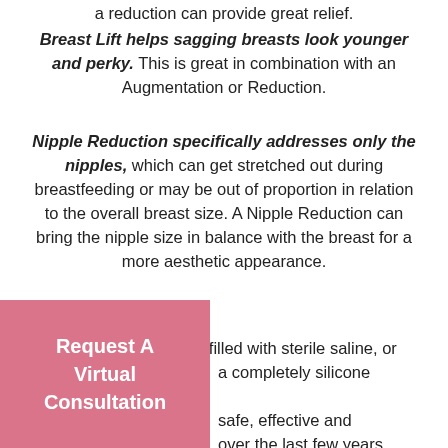a reduction can provide great relief.
Breast Lift helps sagging breasts look younger and perky. This is great in combination with an Augmentation or Reduction.
Nipple Reduction specifically addresses only the nipples, which can get stretched out during breastfeeding or may be out of proportion in relation to the overall breast size. A Nipple Reduction can bring the nipple size in balance with the breast for a more aesthetic appearance.
Saline or Silicone?
Saline is a silicone shell filled with sterile saline, or a completely silicone implant. safe, effective and over the last few years. Within
Request A Virtual Consultation